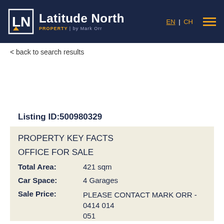Latitude North PROPERTY by Mark Orr | EN | CH
< back to search results
Listing ID:500980329
PROPERTY KEY FACTS
OFFICE FOR SALE
Total Area: 421 sqm
Car Space: 4 Garages
Sale Price: PLEASE CONTACT MARK ORR - 0414 014 051